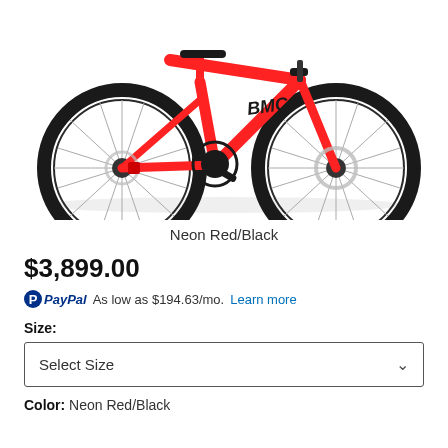[Figure (photo): BMC road bicycle in Neon Red/Black colorway, showing full bike profile with disc brakes, drop handlebars, and red frame with black components on white background.]
Neon Red/Black
$3,899.00
PayPal As low as $194.63/mo. Learn more
Size:
Select Size
Color:  Neon Red/Black